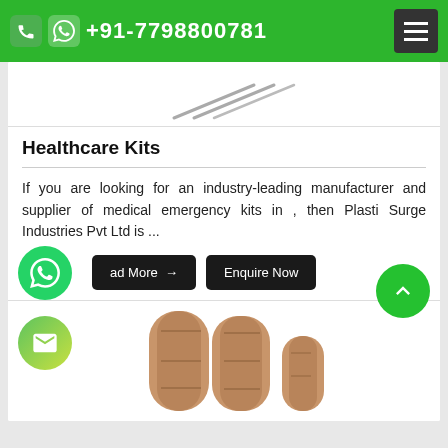+91-7798800781
[Figure (photo): Partial view of medical kit items on white background (scissors/tools visible at top)]
Healthcare Kits
If you are looking for an industry-leading manufacturer and supplier of medical emergency kits in , then Plasti Surge Industries Pvt Ltd is ...
ad More → | Enquire Now
[Figure (photo): Bandage/adhesive plaster strips in brown/tan color at bottom of page]